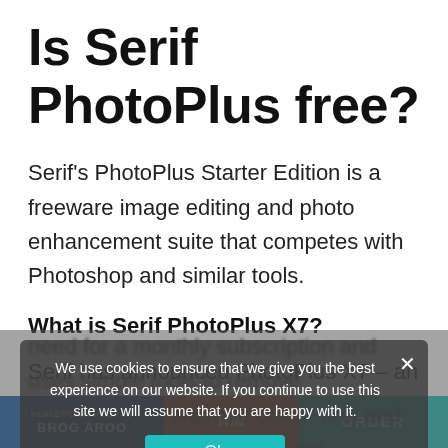Is Serif PhotoPlus free?
Serif's PhotoPlus Starter Edition is a freeware image editing and photo enhancement suite that competes with Photoshop and similar tools.
What is Serif PhotoPlus X7?
Serif has announced PhotoPlus X7 – an intuitive digital photo editing programme. PhotoPlus X7 doesn't have the need for a monthly subscription and uses simple tools to remove imperfections, improve colour and and restore classic photos plus me…
We use cookies to ensure that we give you the best experience on our website. If you continue to use this site we will assume that you are happy with it.
[Figure (screenshot): Cookie consent banner overlay with Ok button, and bottom advertisement tiles (HOMEWORK HELP AT, and two other colored ad banners)]